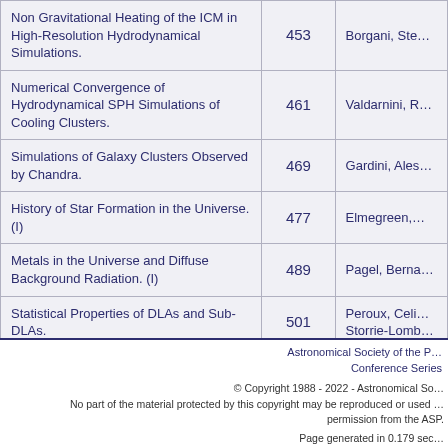| Title | Page | Author |
| --- | --- | --- |
| Non Gravitational Heating of the ICM in High-Resolution Hydrodynamical Simulations. | 453 | Borgani, Ste… |
| Numerical Convergence of Hydrodynamical SPH Simulations of Cooling Clusters. | 461 | Valdarnini, R… |
| Simulations of Galaxy Clusters Observed by Chandra. | 469 | Gardini, Ales… |
| History of Star Formation in the Universe. (I) | 477 | Elmegreen,… |
| Metals in the Universe and Diffuse Background Radiation. (I) | 489 | Pagel, Berna… |
| Statistical Properties of DLAs and Sub-DLAs. | 501 | Peroux, Celi… Storrie-Lomb… |
| Concluding Remarks. (I) | 509 | Pagel, Berna… |
Astronomical Society of the P… Conference Series
© Copyright 1988 - 2022 - Astronomical So… No part of the material protected by this copyright may be reproduced or used … permission from the ASP.
Page generated in 0.179 sec…